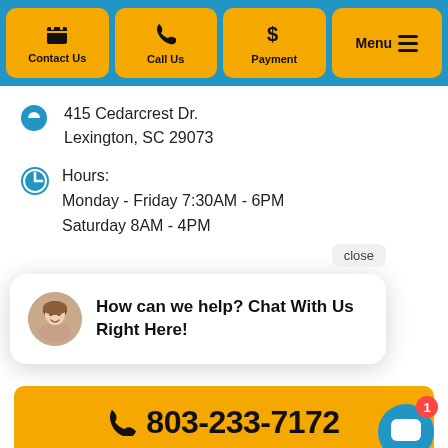[Figure (screenshot): Navigation bar with four orange rounded buttons: Contact Us (calendar icon), Call Us (phone icon), Payment (dollar sign icon), and Menu (hamburger icon) on a blue background.]
415 Cedarcrest Dr.
Lexington, SC 29073
Hours:
Monday - Friday 7:30AM - 6PM
Saturday 8AM - 4PM
close
How can we help? Chat With Us Right Here!
803-233-7172
Simple Booking!